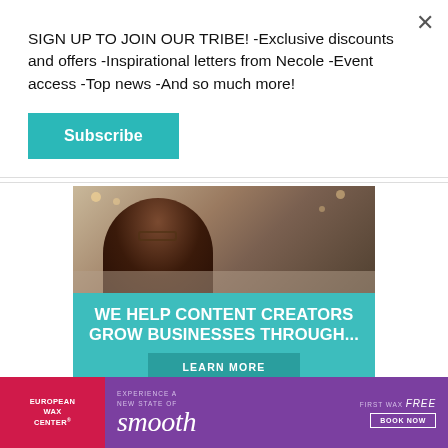SIGN UP TO JOIN OUR TRIBE! -Exclusive discounts and offers -Inspirational letters from Necole -Event access -Top news -And so much more!
Subscribe
[Figure (infographic): Advertisement banner showing a smiling woman with glasses using a laptop, overlaid with teal background text reading 'WE HELP CONTENT CREATORS GROW BUSINESSES THROUGH...' and a 'LEARN MORE' button]
Close On The Home
[Figure (infographic): European Wax Center advertisement banner with pink/purple gradient. Left: European Wax Center logo on red background. Middle: 'EXPERIENCE A NEW STATE OF smooth' on purple background. Right: 'FIRST WAX free BOOK NOW' button.]